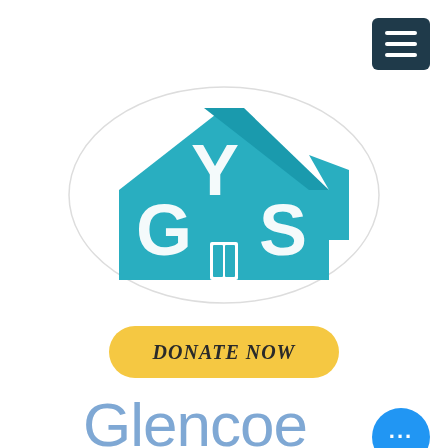[Figure (logo): Hamburger menu icon button in dark teal/navy color with three white horizontal lines]
[Figure (logo): GYS logo inside an oval — a teal house shape containing stylized letters G, Y, S in white]
DONATE NOW
Glencoe Youth